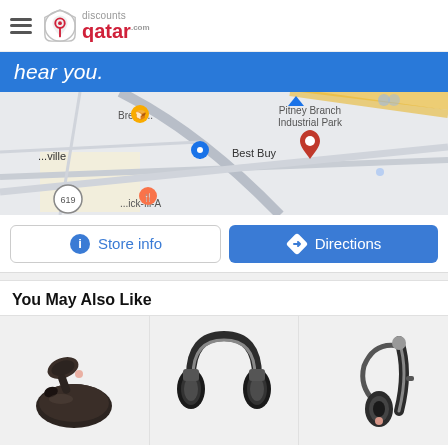discounts qatar
[Figure (screenshot): Google Maps screenshot showing area near Best Buy with location pins. Blue banner at top reads 'hear you.' Map shows Pitney Branch Industrial Park, Best Buy marker, road 619, Bread...ville, Chick-fil-A labels.]
[Figure (other): Store info button (outlined) and Directions button (blue)]
You May Also Like
[Figure (photo): Three product photos: wireless earbuds with charging case (dark brown), over-ear Bluetooth headphones (silver/black), single ear Bluetooth headset (black with silver accents)]